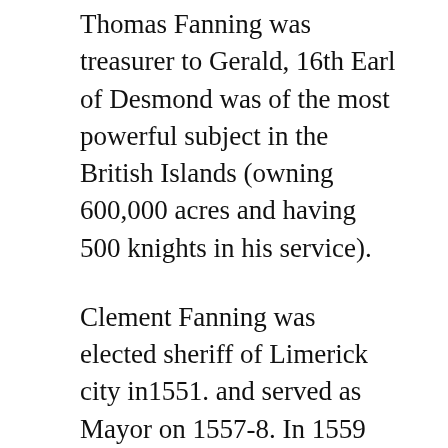Thomas Fanning was treasurer to Gerald, 16th Earl of Desmond was of the most powerful subject in the British Islands (owning 600,000 acres and having 500 knights in his service).
Clement Fanning was elected sheriff of Limerick city in1551. and served as Mayor on 1557-8. In 1559 he was chosen to represent the city of Limerick in the Irish Parliament. He lost a great deal of property as a result of the rebellion of the Earl of Desmond around 1573, during the reign of Elizabeth I. Fanningstown , the property of Clement Fanning was confiscated in 1589. Clement Fanning had a son Patrick.
George Fanning son of above on Willi...